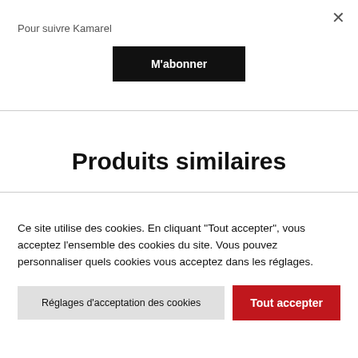×
Pour suivre Kamarel
M'abonner
Produits similaires
Ce site utilise des cookies. En cliquant "Tout accepter", vous acceptez l'ensemble des cookies du site. Vous pouvez personnaliser quels cookies vous acceptez dans les réglages.
Réglages d'acceptation des cookies
Tout accepter